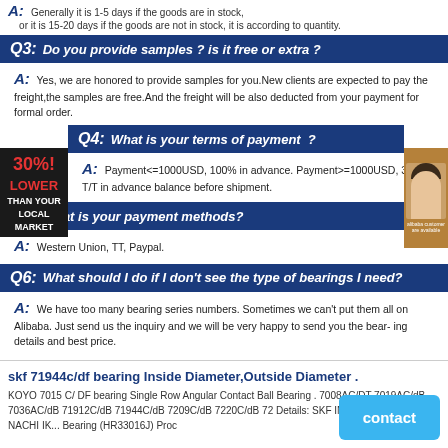A: Generally it is 1-5 days if the goods are in stock, or it is 15-20 days if the goods are not in stock, it is according to quantity.
Q3: Do you provide samples ? is it free or extra ?
A: Yes, we are honored to provide samples for you. New clients are expected to pay the freight,the samples are free.And the freight will be also deducted from your payment for formal order.
Q4: What is your terms of payment ?
A: Payment<=1000USD, 100% in advance. Payment>=1000USD, 30% T/T in advance balance before shipment.
Q5: What is your payment methods?
A: Western Union, TT, Paypal.
Q6: What should I do if I don't see the type of bearings I need?
A: We have too many bearing series numbers. Sometimes we can't put them all on Alibaba. Just send us the inquiry and we will be very happy to send you the bearing details and best price.
skf 71944c/df bearing Inside Diameter,Outside Diameter .
KOYO 7015 C/ DF bearing Single Row Angular Contact Ball Bearing . 7008AC/DT 7019AC/dB 7036AC/dB 71912C/dB 71944C/dB 7209C/dB 7220C/dB 72 Details: SKF INA Timken NSK NTN NACHI IK... Bearing (HR33016J) Proc